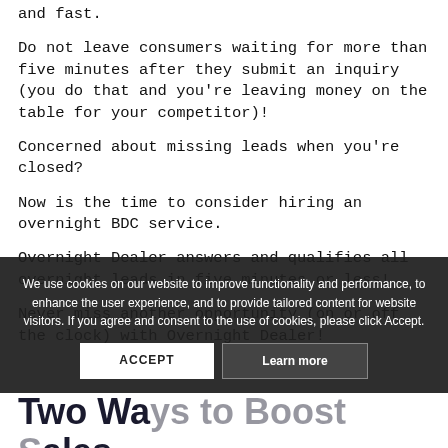and fast.
Do not leave consumers waiting for more than five minutes after they submit an inquiry (you do that and you're leaving money on the table for your competitor)!
Concerned about missing leads when you're closed?
Now is the time to consider hiring an overnight BDC service.
Overnight Dealer answers and qualifies all overnight leads in five minutes or less!
Never miss another opportunity (on or off the clock) with Overnight Dealer!
We use cookies on our website to improve functionality and performance, to enhance the user experience, and to provide tailored content for website visitors. If you agree and consent to the use of cookies, please click Accept.
Two Ways to Boost Sales TODAY